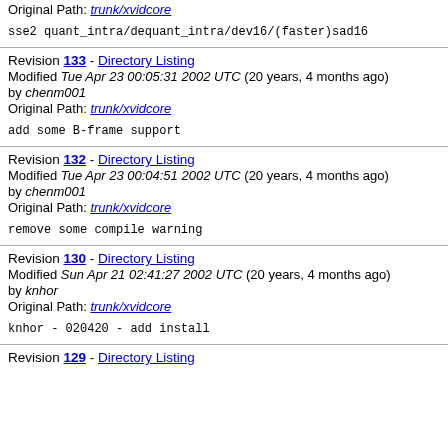Original Path: trunk/xvidcore
sse2 quant_intra/dequant_intra/dev16/(faster)sad16
Revision 133 - Directory Listing
Modified Tue Apr 23 00:05:31 2002 UTC (20 years, 4 months ago)
by chenm001
Original Path: trunk/xvidcore
add some B-frame support
Revision 132 - Directory Listing
Modified Tue Apr 23 00:04:51 2002 UTC (20 years, 4 months ago)
by chenm001
Original Path: trunk/xvidcore
remove some compile warning
Revision 130 - Directory Listing
Modified Sun Apr 21 02:41:27 2002 UTC (20 years, 4 months ago)
by knhor
Original Path: trunk/xvidcore
knhor - 020420 - add install
Revision 129 - Directory Listing